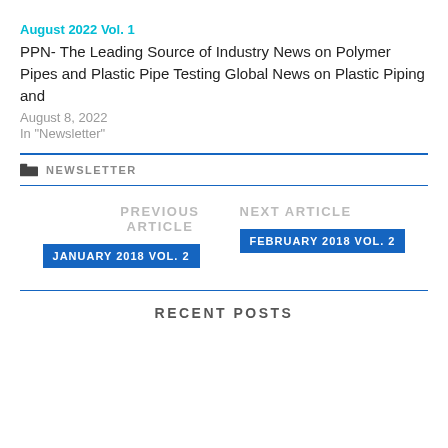August 2022 Vol. 1
PPN- The Leading Source of Industry News on Polymer Pipes and Plastic Pipe Testing Global News on Plastic Piping and
August 8, 2022
In "Newsletter"
NEWSLETTER
PREVIOUS ARTICLE
JANUARY 2018 VOL. 2
NEXT ARTICLE
FEBRUARY 2018 VOL. 2
RECENT POSTS